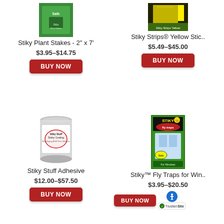[Figure (photo): Green package of Stiky Plant Stakes]
Stiky Plant Stakes - 2" x 7'
$3.95–$14.75
BUY NOW
[Figure (photo): Yellow sticky strip product image]
Stiky Strips® Yellow Stic..
$5.49–$45.00
BUY NOW
[Figure (photo): Metal tin can of Stiky Stuff Sticky Coating adhesive]
Stiky Stuff Adhesive
$12.00–$57.50
BUY NOW
[Figure (photo): Green box of Stiky fly traps for windows]
Stiky™ Fly Traps for Win..
$3.95–$20.50
BUY NOW